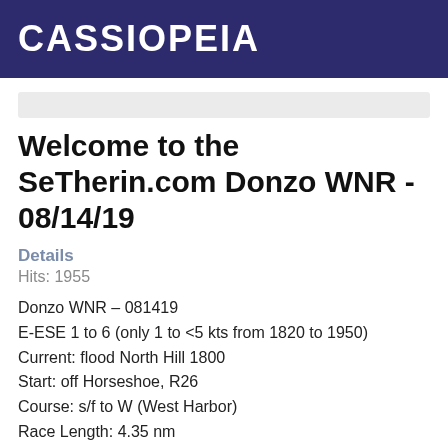CASSIOPEIA
Welcome to the SeTherin.com Donzo WNR - 08/14/19
Details
Hits: 1955
Donzo WNR – 081419
E-ESE 1 to 6 (only 1 to <5 kts from 1820 to 1950)
Current: flood North Hill 1800
Start: off Horseshoe, R26
Course: s/f to W (West Harbor)
Race Length: 4.35 nm
Crew: Adam, Brian, Dan & RW
Rig at base, #1 Genoa